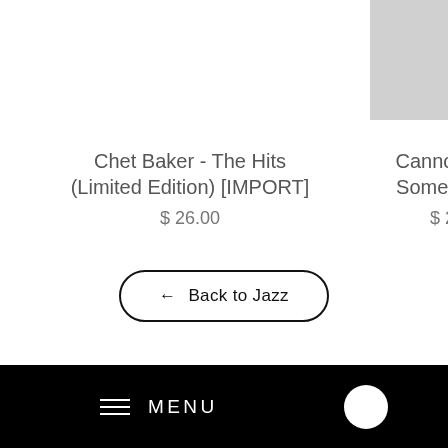[Figure (photo): Album cover image for Cannonball Adderley Somethin Else, partially visible in upper right corner, gray placeholder]
Chet Baker - The Hits (Limited Edition) [IMPORT]
$ 26.00
Cannonball A... Somethin Els...
$ 22.0...
← Back to Jazz
≡ MENU